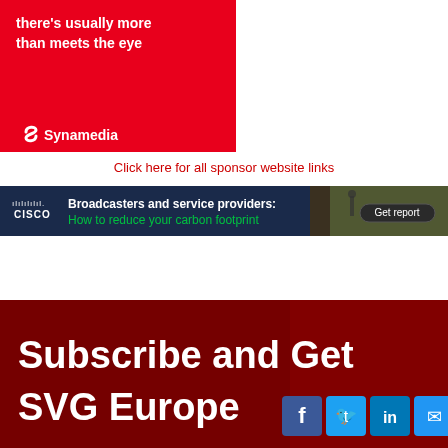[Figure (advertisement): Synamedia red advertisement banner with white text 'there's usually more than meets the eye' and Synamedia logo at bottom left]
Click here for all sponsor website links
[Figure (advertisement): Cisco dark blue banner advertisement: 'Broadcasters and service providers: How to reduce your carbon footprint' with Get report button and image of person walking past server racks]
[Figure (advertisement): Dark red banner: 'Subscribe and Get SVG Europe' with social media icons for Facebook, Twitter, LinkedIn, and Email]